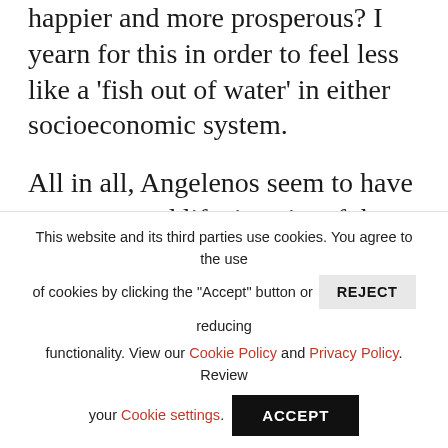happier and more prosperous? I yearn for this in order to feel less like a 'fish out of water' in either socioeconomic system.
All in all, Angelenos seem to have a pretty good life, in spite of the traffic woes, occasional earthquakes and high cost of property. Sunday we took a ride up the PCH (Pacific Coast Highway) through Malibu and ogled the beach estates, one after the other, each worth many millions
This website and its third parties use cookies. You agree to the use of cookies by clicking the "Accept" button or REJECT reducing functionality. View our Cookie Policy and Privacy Policy. Review your Cookie settings. ACCEPT